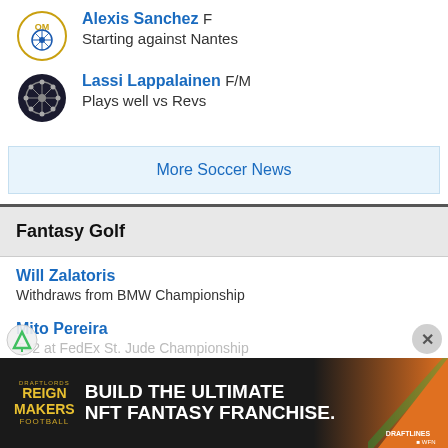Alexis Sanchez F — Starting against Nantes
Lassi Lappalainen F/M — Plays well vs Revs
More Soccer News
Fantasy Golf
Will Zalatoris — Withdraws from BMW Championship
Max Homa — T42 in Memphis
Mito Pereira — T42 at FedEx St. Jude Championship
[Figure (screenshot): Advertisement banner: Reign Makers Football — Build the Ultimate NFT Fantasy Franchise.]